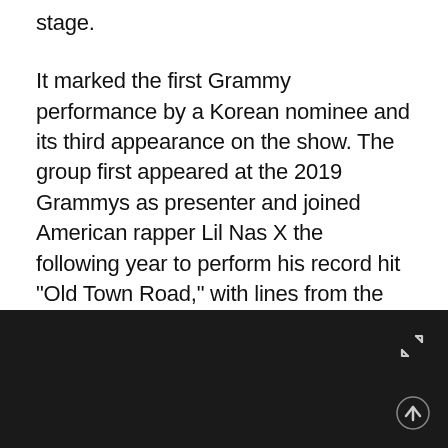stage.
It marked the first Grammy performance by a Korean nominee and its third appearance on the show. The group first appeared at the 2019 Grammys as presenter and joined American rapper Lil Nas X the following year to perform his record hit "Old Town Road," with lines from the remix "Seoul Town Road."
In a statement released through their agency Big Hit Entertainment, the group said the experience was "a meaningful moment," saying it "will continue to move forward toward their next goal."
[Figure (other): Dark footer bar with expand icon (diagonal arrows) and up arrow icon on black background]